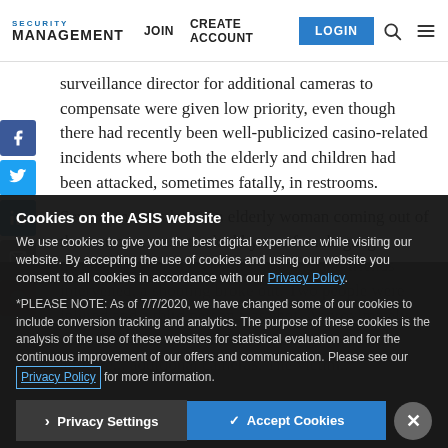SECURITY MANAGEMENT | JOIN  CREATE ACCOUNT  LOGIN
surveillance director for additional cameras to compensate were given low priority, even though there had recently been well-publicized casino-related incidents where both the elderly and children had been attacked, sometimes fatally, in restrooms.
Several months later, an elderly woman coming out of the restroom was attacked by two female gang members. When the victim's husband and friends intervened, a shooting broke out. Two people were injured and a third person was shot. Approximately three weeks after the incident, management had allocated funds to purchase additional cameras. The victims later filed...
Cookies on the ASIS website
We use cookies to give you the best digital experience while visiting our website. By accepting the use of cookies and using our website you consent to all cookies in accordance with our Privacy Policy.
*PLEASE NOTE: As of 7/7/2020, we have changed some of our cookies to include conversion tracking and analytics. The purpose of these cookies is the analysis of the use of these websites for statistical evaluation and for the continuous improvement of our offers and communication. Please see our Privacy Policy for more information.
Privacy Settings    ✓ Accept Cookies    ✕